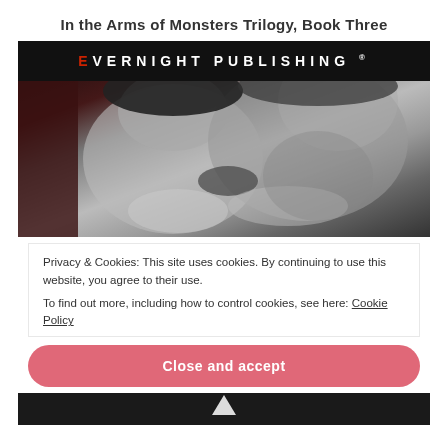In the Arms of Monsters Trilogy, Book Three
[Figure (photo): Evernight Publishing logo banner (black background, white text with red E) above a black and white photo of a couple kissing intimately]
Privacy & Cookies: This site uses cookies. By continuing to use this website, you agree to their use.
To find out more, including how to control cookies, see here: Cookie Policy
Close and accept
[Figure (photo): Bottom strip showing dark background with partial white triangle/logo element visible at top]